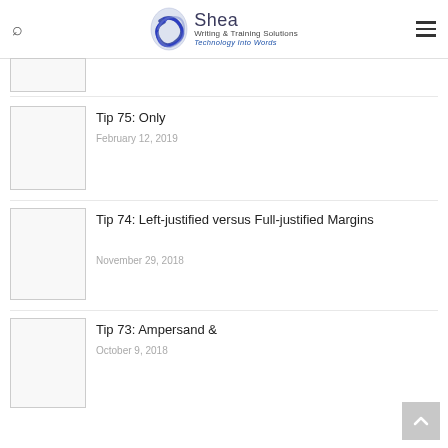Shea Writing & Training Solutions — Technology Into Words
[Figure (illustration): Partial thumbnail image placeholder at top, cropped]
Tip 75: Only
February 12, 2019
[Figure (illustration): Thumbnail image placeholder for Tip 75]
Tip 74: Left-justified versus Full-justified Margins
November 29, 2018
[Figure (illustration): Thumbnail image placeholder for Tip 74]
Tip 73: Ampersand &
October 9, 2018
[Figure (illustration): Thumbnail image placeholder for Tip 73]